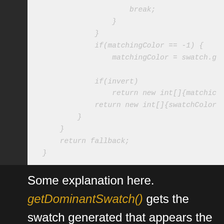[Figure (screenshot): Code block showing Java/Android code snippet with light gray background. Code includes: break; closing braces, if(matchingColor == -1) matchingColor = swatch.g, if(invert) return new int[]{matchic, return new int[]{swatchColor, closing braces, return fallback; closing brace.]
Some explanation here. getDominantSwatch() gets the swatch generated that appears the most in the bitmap and is close to what notifications use for the